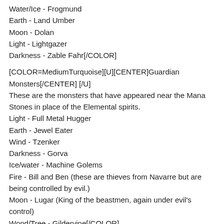Water/Ice - Frogmund
Earth - Land Umber
Moon - Dolan
Light - Lightgazer
Darkness - Zable Fahr[/COLOR]
[COLOR=MediumTurquoise][U][CENTER]Guardian Monsters[/CENTER] [/U]
These are the monsters that have appeared near the Mana Stones in place of the Elemental spirits.
Light - Full Metal Hugger
Earth - Jewel Eater
Wind - Tzenker
Darkness - Gorva
Ice/water - Machine Golems
Fire - Bill and Ben (these are thieves from Navarre but are being controlled by evil.)
Moon - Lugar (King of the beastmen, again under evil's control)
Wood/Tree - Gildervine[/COLOR]
[COLOR=Teal][U][CENTER]Races and Classes[/CENTER] [/U]
In truth this only has two races which are beastman and human.